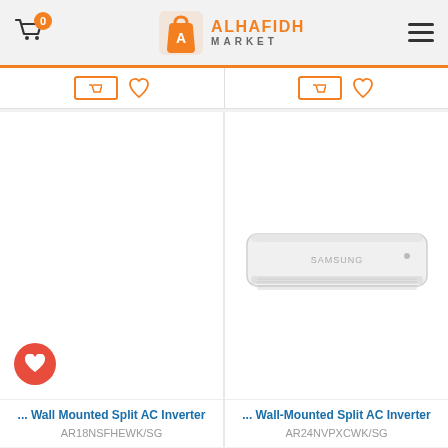Alhafidh Market - 0 items in cart
[Figure (screenshot): Top partial product row with cart and wishlist buttons for two partially visible products]
[Figure (photo): Left product card: Wall Mounted Split AC Inverter AR18NSFHEWK/SG - blank white image area with red heart wishlist button]
[Figure (photo): Right product card: Wall-Mounted Split AC Inverter AR24NVPXCWK/SG - image of white Samsung wall-mounted air conditioner unit]
... Wall Mounted Split AC Inverter
AR18NSFHEWK/SG
... Wall-Mounted Split AC Inverter
AR24NVPXCWK/SG